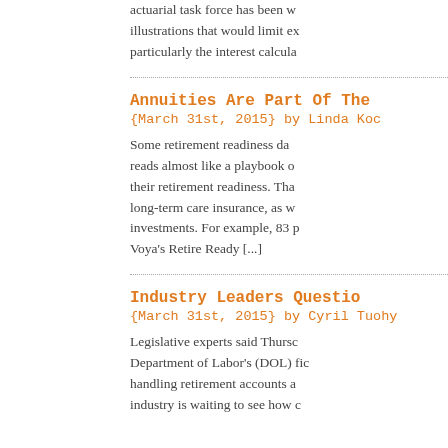actuarial task force has been w... illustrations that would limit ex... particularly the interest calcula...
Annuities Are Part Of The...
{March 31st, 2015} by Linda Koc...
Some retirement readiness da... reads almost like a playbook o... their retirement readiness. Tha... long-term care insurance, as w... investments. For example, 83 p... Voya's Retire Ready [...]
Industry Leaders Questio...
{March 31st, 2015} by Cyril Tuohy...
Legislative experts said Thursc... Department of Labor's (DOL) fic... handling retirement accounts a... industry is waiting to see how c...